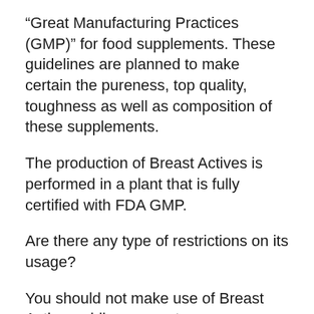“Great Manufacturing Practices (GMP)” for food supplements. These guidelines are planned to make certain the pureness, top quality, toughness as well as composition of these supplements.
The production of Breast Actives is performed in a plant that is fully certified with FDA GMP.
Are there any type of restrictions on its usage?
You should not make use of Breast Actives while pregnant or breastfeeding. If you are expecting or nursing a baby, wait until your baby finishes nursing/ or breastfeeding is finished. Then you can begin this treatment